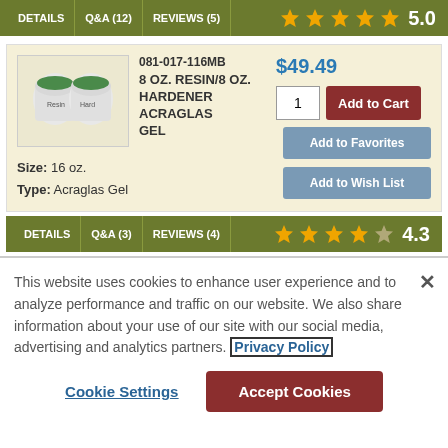DETAILS | Q&A (12) | REVIEWS (5) | ★★★★★ 5.0
[Figure (photo): Two small white containers with green lids containing Acraglas Gel resin and hardener]
081-017-116MB
8 OZ. RESIN/8 OZ. HARDENER ACRAGLAS GEL
$49.49
1
Add to Cart
In Stock
Size: 16 oz.
Type: Acraglas Gel
Add to Favorites
Add to Wish List
DETAILS | Q&A (3) | REVIEWS (4) | ★★★★☆ 4.3
This website uses cookies to enhance user experience and to analyze performance and traffic on our website. We also share information about your use of our site with our social media, advertising and analytics partners. Privacy Policy
Cookie Settings
Accept Cookies